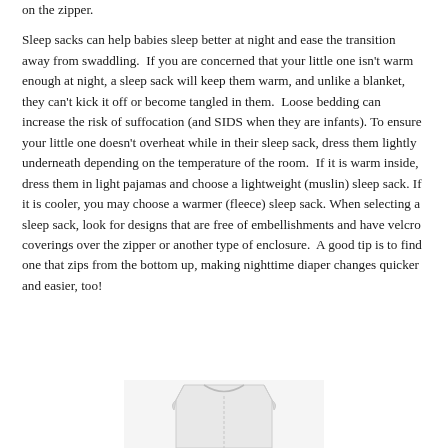on the zipper.
Sleep sacks can help babies sleep better at night and ease the transition away from swaddling.  If you are concerned that your little one isn't warm enough at night, a sleep sack will keep them warm, and unlike a blanket, they can't kick it off or become tangled in them.  Loose bedding can increase the risk of suffocation (and SIDS when they are infants). To ensure your little one doesn't overheat while in their sleep sack, dress them lightly underneath depending on the temperature of the room.  If it is warm inside, dress them in light pajamas and choose a lightweight (muslin) sleep sack. If it is cooler, you may choose a warmer (fleece) sleep sack. When selecting a sleep sack, look for designs that are free of embellishments and have velcro coverings over the zipper or another type of enclosure.  A good tip is to find one that zips from the bottom up, making nighttime diaper changes quicker and easier, too!
[Figure (photo): Partial image of a white sleep sack garment visible at the bottom of the page]